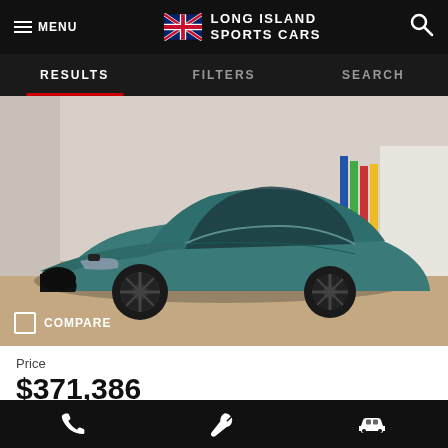MENU | LONG ISLAND SPORTS CARS | Search
RESULTS   FILTERS   SEARCH
[Figure (photo): Teal/green Aston Martin DBS supercar parked in a showroom, front three-quarter view, with black alloy wheels. COMPARE checkbox overlay in bottom left.]
Price
$371,386
Phone | Wrench | Car icons